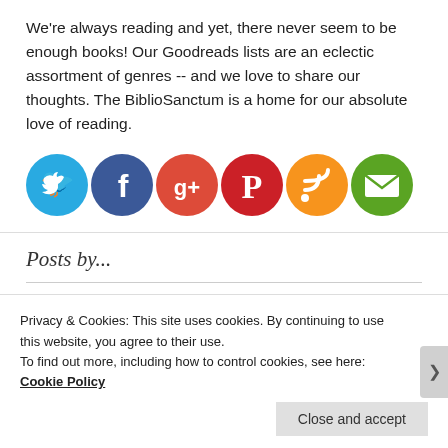We're always reading and yet, there never seem to be enough books! Our Goodreads lists are an eclectic assortment of genres -- and we love to share our thoughts. The BiblioSanctum is a home for our absolute love of reading.
[Figure (infographic): Six social media icon circles: Twitter (light blue), Facebook (dark blue), Google+ (orange-red), Pinterest (red), RSS (orange), Email (green)]
Posts by...
[Figure (photo): Four thumbnail images of blog post author avatars/book covers in a horizontal row]
Privacy & Cookies: This site uses cookies. By continuing to use this website, you agree to their use.
To find out more, including how to control cookies, see here: Cookie Policy
Close and accept